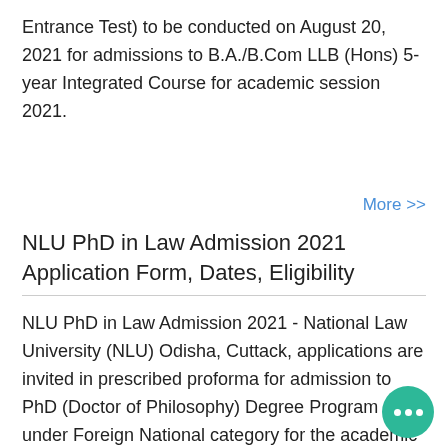Entrance Test) to be conducted on August 20, 2021 for admissions to B.A./B.Com LLB (Hons) 5-year Integrated Course for academic session 2021.
More >>
NLU PhD in Law Admission 2021 Application Form, Dates, Eligibility
NLU PhD in Law Admission 2021 - National Law University (NLU) Odisha, Cuttack, applications are invited in prescribed proforma for admission to PhD (Doctor of Philosophy) Degree Program under Foreign National category for the academic session